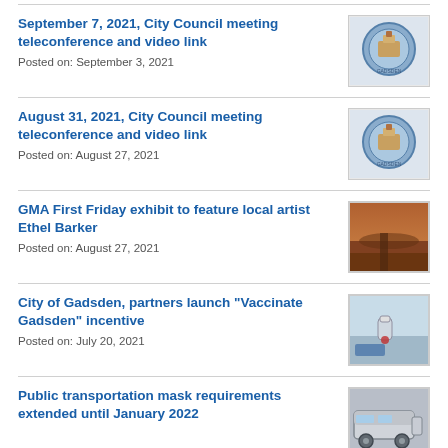September 7, 2021, City Council meeting teleconference and video link
Posted on: September 3, 2021
August 31, 2021, City Council meeting teleconference and video link
Posted on: August 27, 2021
GMA First Friday exhibit to feature local artist Ethel Barker
Posted on: August 27, 2021
City of Gadsden, partners launch “Vaccinate Gadsden” incentive
Posted on: July 20, 2021
Public transportation mask requirements extended until January 2022